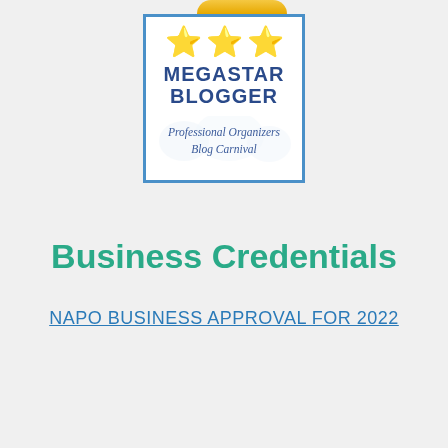[Figure (logo): Megastar Blogger badge for Professional Organizers Blog Carnival. A white box with blue border containing three gold stars and text 'MEGASTAR BLOGGER' in dark blue, with italic script text 'Professional Organizers Blog Carnival' below. A partial gold ribbon/badge visible at top.]
Business Credentials
NAPO BUSINESS APPROVAL FOR 2022